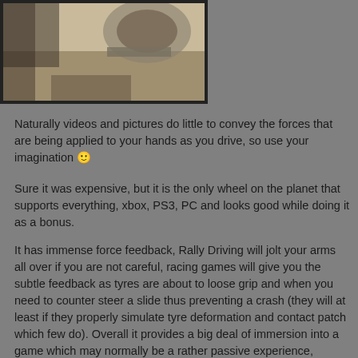[Figure (photo): Partial photo of a steering wheel or gaming wheel on a desk, shown against a dark background border]
Naturally videos and pictures do little to convey the forces that are being applied to your hands as you drive, so use your imagination 🙂
Sure it was expensive, but it is the only wheel on the planet that supports everything, xbox, PS3, PC and looks good while doing it as a bonus.
It has immense force feedback, Rally Driving will jolt your arms all over if you are not careful, racing games will give you the subtle feedback as tyres are about to loose grip and when you need to counter steer a slide thus preventing a crash (they will at least if they properly simulate tyre deformation and contact patch which few do). Overall it provides a big deal of immersion into a game which may normally be a rather passive experience, suddenly you are drawn in and engaged and given extra sensory perceptions that not only make it more entertaining but easier to drive well.
It isn't as well made as a real porsche wheel, it has some defects, stitching is rough to touch, buttons have a bit of a gap and one button is really wonky to touch, the wheel is quite hard; theres no padding under the leather so it feels a bit hollow and hard, but compared to other gaming wheels.. it licks them all and it is a bit cheaper than a real